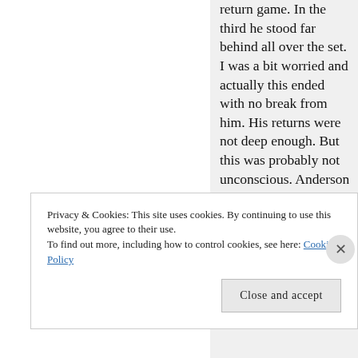return game. In the third he stood far behind all over the set. I was a bit worried and actually this ended with no break from him. His returns were not deep enough. But this was probably not unconscious. Anderson was under pressure, not Thiem. So maybe the concept was to let Anderson run more (he
Privacy & Cookies: This site uses cookies. By continuing to use this website, you agree to their use.
To find out more, including how to control cookies, see here: Cookie Policy
Close and accept